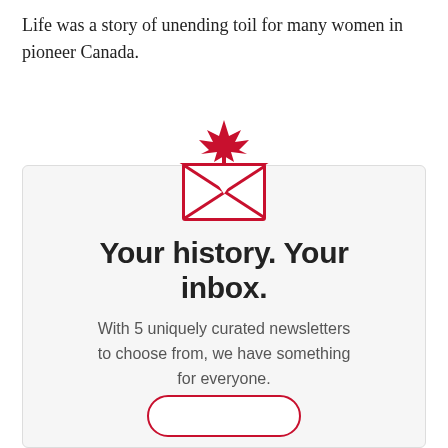Life was a story of unending toil for many women in pioneer Canada.
[Figure (illustration): Red envelope icon with a Canadian maple leaf on top, representing a newsletter subscription service.]
Your history. Your inbox.
With 5 uniquely curated newsletters to choose from, we have something for everyone.